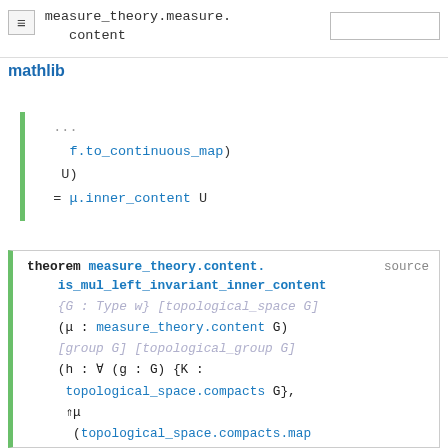≡  measure_theory.measure.
   content
mathlib
[Figure (screenshot): Code block showing f.to_continuous_map) U) = μ.inner_content U with green left border]
[Figure (screenshot): Code block showing theorem measure_theory.content.is_mul_left_invariant_inner_content with type signature]